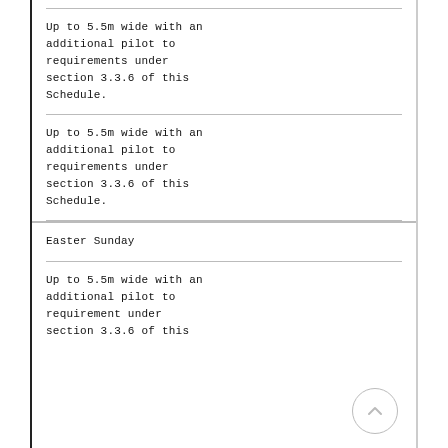Up to 5.5m wide with an additional pilot to requirements under section 3.3.6 of this Schedule.
Up to 5.5m wide with an additional pilot to requirements under section 3.3.6 of this Schedule.
Easter Sunday
Up to 5.5m wide with an additional pilot to requirement under section 3.3.6 of this